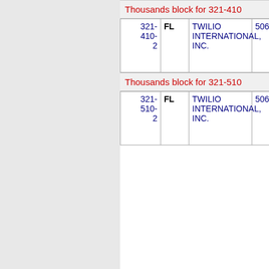Thousands block for 321-410
| Number | State | Name | Code | Type |
| --- | --- | --- | --- | --- |
| 321-410-2 | FL | TWILIO INTERNATIONAL, INC. | 506J | CO |
Thousands block for 321-510
| Number | State | Name | Code | Type |
| --- | --- | --- | --- | --- |
| 321-510-2 | FL | TWILIO INTERNATIONAL, INC. | 506J | EA |